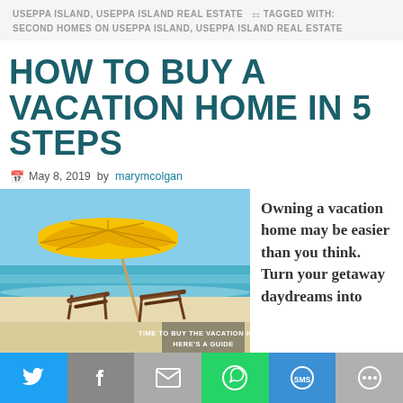USEPPA ISLAND, USEPPA ISLAND REAL ESTATE  🏷 TAGGED WITH: SECOND HOMES ON USEPPA ISLAND, USEPPA ISLAND REAL ESTATE
HOW TO BUY A VACATION HOME IN 5 STEPS
May 8, 2019 by marymcolgan
[Figure (photo): Beach scene with yellow umbrella and two wooden beach chairs on sandy shore, ocean in background. Text overlay reads: TIME TO BUY THE VACATION HOME HERE'S A GUIDE]
Owning a vacation home may be easier than you think. Turn your getaway daydreams into
Share bar with Twitter, Facebook, Email, WhatsApp, SMS, and More buttons